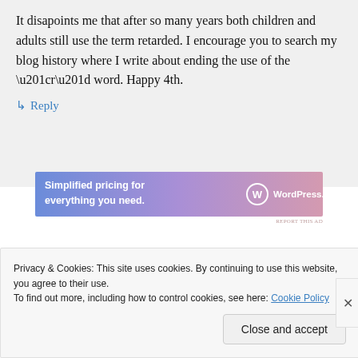It disapoints me that after so many years both children and adults still use the term retarded. I encourage you to search my blog history where I write about ending the use of the “r” word. Happy 4th.
↳ Reply
[Figure (other): WordPress.com advertisement banner: 'Simplified pricing for everything you need.']
REPORT THIS AD
Privacy & Cookies: This site uses cookies. By continuing to use this website, you agree to their use.
To find out more, including how to control cookies, see here: Cookie Policy
Close and accept